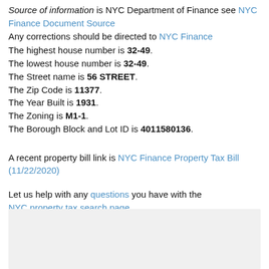Source of information is NYC Department of Finance see NYC Finance Document Source Any corrections should be directed to NYC Finance
The highest house number is 32-49.
The lowest house number is 32-49.
The Street name is 56 STREET.
The Zip Code is 11377.
The Year Built is 1931.
The Zoning is M1-1.
The Borough Block and Lot ID is 4011580136.
A recent property bill link is NYC Finance Property Tax Bill (11/22/2020)
Let us help with any questions you have with the NYC property tax search page